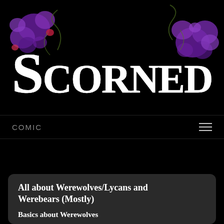[Figure (logo): Scorned comic title logo in decorative blackletter/gothic font, white text on black background, with purple floral decorations at top-left and top-right corners]
COMIC
All about Werewolves/Lycans and Werebears (Mostly)
Basics about Werewolves